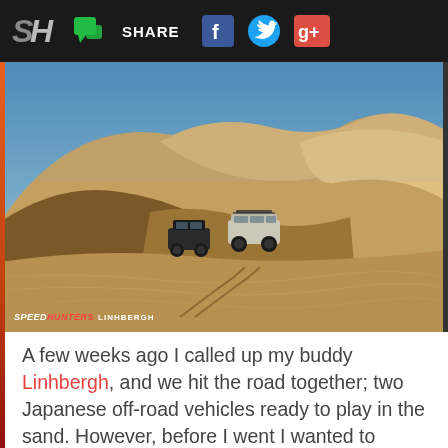SH | [chat icon] SHARE [Facebook] [Twitter] [Google+]
[Figure (photo): Two Japanese off-road SUVs driving across large sand dunes under a clear blue sky. SPEEDHUNTERS LINHBERGH watermark in bottom left corner.]
A few weeks ago I called up my buddy Linhbergh, and we hit the road together; two Japanese off-road vehicles ready to play in the sand. However, before I went I wanted to equip Project FJ with some new wheels and tires.